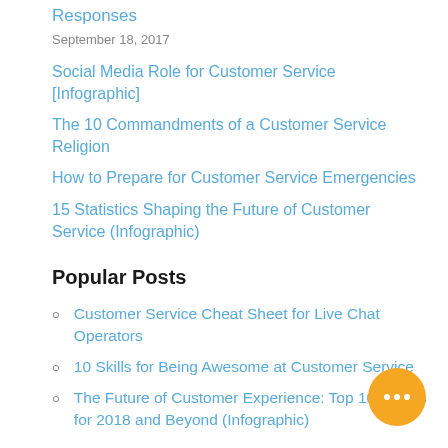Responses
September 18, 2017
Social Media Role for Customer Service [Infographic]
The 10 Commandments of a Customer Service Religion
How to Prepare for Customer Service Emergencies
15 Statistics Shaping the Future of Customer Service (Infographic)
Popular Posts
Customer Service Cheat Sheet for Live Chat Operators
10 Skills for Being Awesome at Customer Service
The Future of Customer Experience: Top 10 Trends for 2018 and Beyond (Infographic)
[Figure (illustration): Orange circular chat bubble icon with three white dots in the bottom right corner]